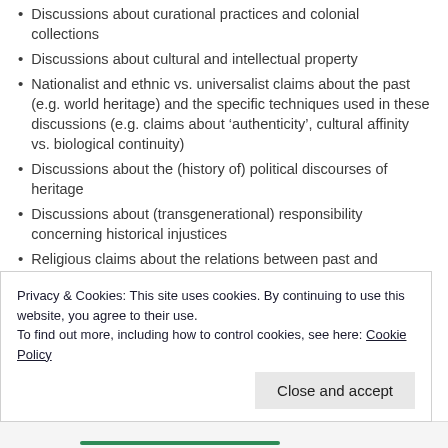Discussions about curational practices and colonial collections
Discussions about cultural and intellectual property
Nationalist and ethnic vs. universalist claims about the past (e.g. world heritage) and the specific techniques used in these discussions (e.g. claims about ‘authenticity’, cultural affinity vs. biological continuity)
Discussions about the (history of) political discourses of heritage
Discussions about (transgenerational) responsibility concerning historical injustices
Religious claims about the relations between past and present
Discussions about who has epistemic authority and can claim the proper expertise to speak about/for the past
Privacy & Cookies: This site uses cookies. By continuing to use this website, you agree to their use.
To find out more, including how to control cookies, see here: Cookie Policy